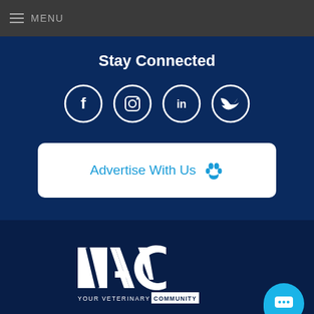MENU
Stay Connected
[Figure (illustration): Four social media icons in white circles: Facebook, Instagram, LinkedIn, Twitter]
Advertise With Us 🐾
[Figure (logo): NAVC logo — YOUR VETERINARY COMMUNITY — white text on dark navy background]